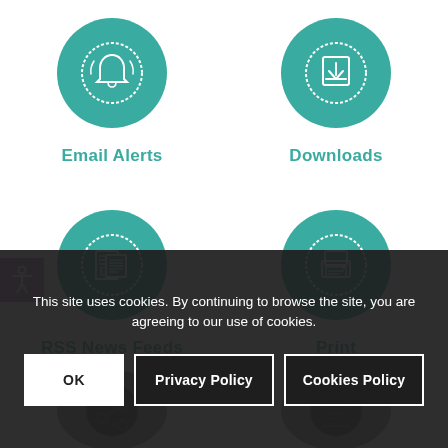[Figure (infographic): Teal circle icon with bell/alert symbol representing Email Alerts]
Email Alerts
[Figure (infographic): Teal circle icon with download/arrow symbol representing Downloads]
Downloads
[Figure (infographic): Teal circle icon with newspaper symbol representing RSS News Feeds]
RSS News Feeds
[Figure (infographic): Teal circle icon with printer symbol representing Print]
Print
This site uses cookies. By continuing to browse the site, you are agreeing to our use of cookies.
OK
Privacy Policy
Cookies Policy